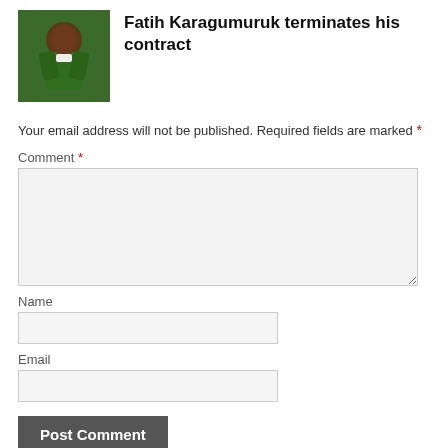[Figure (photo): Thumbnail photo of a footballer in a green jersey, likely a Nigerian national team kit]
Fatih Karagumuruk terminates his contract
Your email address will not be published. Required fields are marked *
Comment *
Name
Email
Post Comment
This site uses Akismet to reduce spam. Learn how your